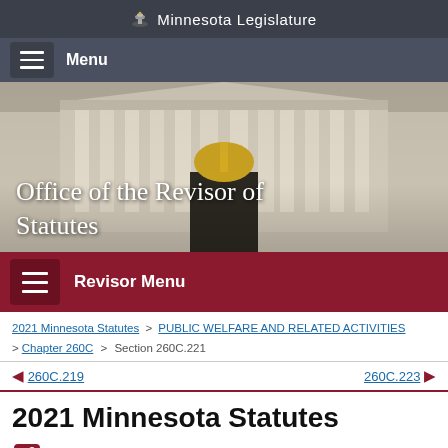Minnesota Legislature
Menu
[Figure (photo): Photo of Minnesota State Capitol building exterior with columns and golden statues, with overlay text 'Office of the Revisor of Statutes']
Revisor Menu
2021 Minnesota Statutes > PUBLIC WELFARE AND RELATED ACTIVITIES > Chapter 260C > Section 260C.221
◀ 260C.219    260C.223 ▶
2021 Minnesota Statutes